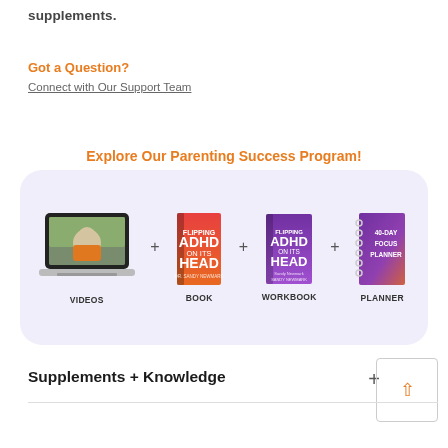supplements.
Got a Question?
Connect with Our Support Team
Explore Our Parenting Success Program!
[Figure (infographic): A promotional banner showing four components of a Parenting Success Program: VIDEOS (laptop with person), BOOK (ADHD book cover), WORKBOOK (ADHD workbook cover), PLANNER (40-Day Focus Planner), connected with + signs, all inside a light purple rounded rectangle.]
Supplements + Knowledge